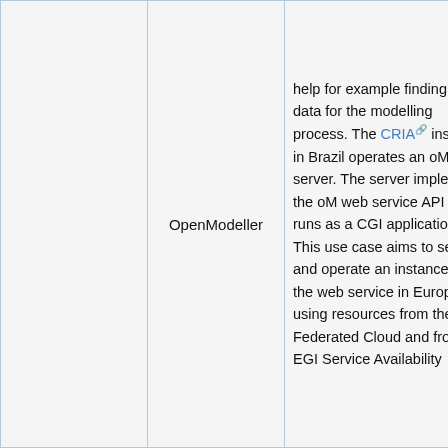|  | Use Case | Description | Resources |
| --- | --- | --- | --- |
|  | OpenModeller | help for example finding input data for the modelling process. The CRIA institute in Brazil operates an oM server. The server implements the oM web service API and runs as a CGI application. This use case aims to setup and operate an instance of the web service in Europe using resources from the EGI Federated Cloud and from the EGI Service Availability... | FedC... |